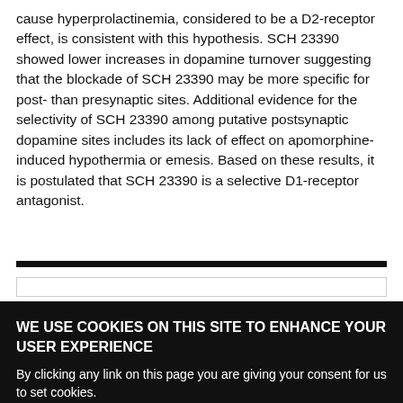cause hyperprolactinemia, considered to be a D2-receptor effect, is consistent with this hypothesis. SCH 23390 showed lower increases in dopamine turnover suggesting that the blockade of SCH 23390 may be more specific for post- than presynaptic sites. Additional evidence for the selectivity of SCH 23390 among putative postsynaptic dopamine sites includes its lack of effect on apomorphine-induced hypothermia or emesis. Based on these results, it is postulated that SCH 23390 is a selective D1-receptor antagonist.
WE USE COOKIES ON THIS SITE TO ENHANCE YOUR USER EXPERIENCE
By clicking any link on this page you are giving your consent for us to set cookies.
OK, I agree
No, give me more info